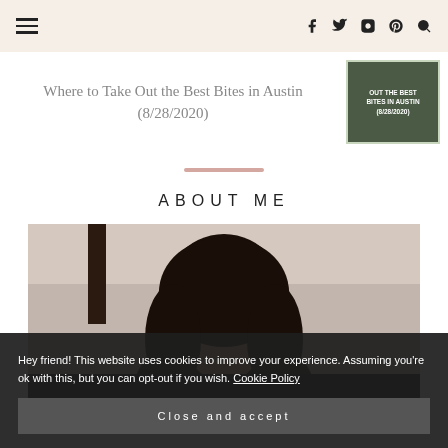Navigation header with hamburger menu and social icons (Facebook, Twitter, Instagram, Pinterest, Search)
Where to Take Out the Best Bites in Austin (8/28/2020)
[Figure (photo): Thumbnail image for article about best bites in Austin with text overlay]
ABOUT ME
[Figure (photo): Photo of a woman with dark hair in a bright interior setting]
Hey friend! This website uses cookies to improve your experience. Assuming you're ok with this, but you can opt-out if you wish. Cookie Policy
Close and accept